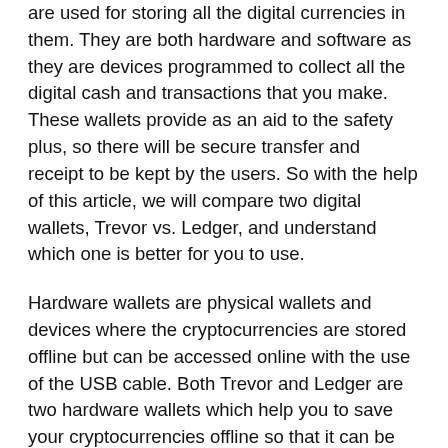are used for storing all the digital currencies in them. They are both hardware and software as they are devices programmed to collect all the digital cash and transactions that you make. These wallets provide as an aid to the safety plus, so there will be secure transfer and receipt to be kept by the users. So with the help of this article, we will compare two digital wallets, Trevor vs. Ledger, and understand which one is better for you to use.
Hardware wallets are physical wallets and devices where the cryptocurrencies are stored offline but can be accessed online with the use of the USB cable. Both Trevor and Ledger are two hardware wallets which help you to save your cryptocurrencies offline so that it can be accessed later. Amongst the most outstanding wallets out there in the market, both Trevor and Ledger are top in their function and can be used for a ton of things.